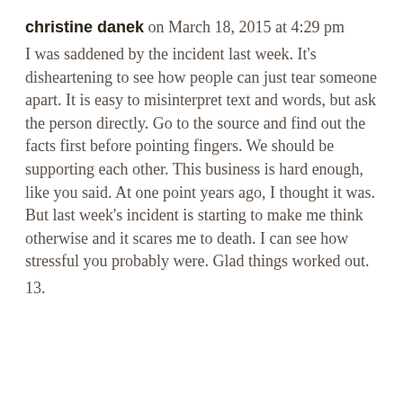christine danek on March 18, 2015 at 4:29 pm
I was saddened by the incident last week. It's disheartening to see how people can just tear someone apart. It is easy to misinterpret text and words, but ask the person directly. Go to the source and find out the facts first before pointing fingers. We should be supporting each other. This business is hard enough, like you said. At one point years ago, I thought it was. But last week's incident is starting to make me think otherwise and it scares me to death. I can see how stressful you probably were. Glad things worked out.
13.